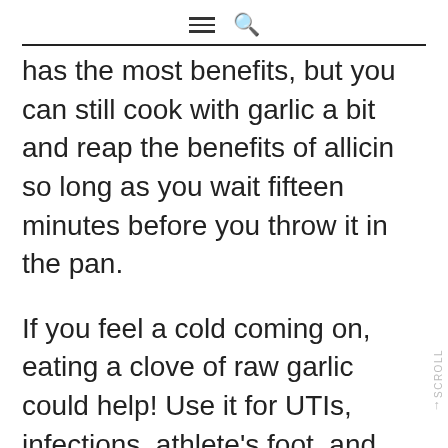≡ 🔍
has the most benefits, but you can still cook with garlic a bit and reap the benefits of allicin so long as you wait fifteen minutes before you throw it in the pan.
If you feel a cold coming on, eating a clove of raw garlic could help! Use it for UTIs, infections, athlete's foot, and just about anything else when you feel it coming on. Even if you have a minor fever, a cough, or sore throat, eating raw garlic at the